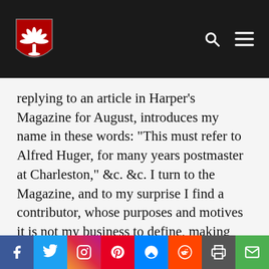[University logo header with search and menu icons]
replying to an article in Harper’s Magazine for August, introduces my name in these words: “This must refer to Alfred Huger, for many years postmaster at Charleston,” &c. &c. I turn to the Magazine, and to my surprise I find a contributor, whose purposes and motives it is not my business to define, making capital out of so barren a subject as myself. Beginning with the “Burning of Columbia,” and
Social share bar: Facebook, Twitter, Instagram, Pinterest, Messenger, Reddit, Print, Email